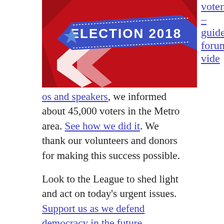[Figure (photo): Election 2018 promotional image with red background, blue ribbon banner reading ELECTION 2018, white chevrons, and a blue star]
voters' – guides, forums, videos and speakers
, we informed about 45,000 voters in the Metro area. See how we did it. We thank our volunteers and donors for making this success possible.

Look to the League to shed light and act on today's urgent issues. Support us as we defend democracy in the future.
Margaret Noel / November 8, 2018 / News / 2018